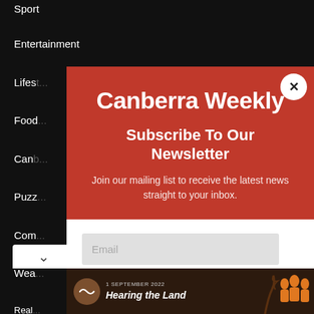Sport
Entertainment
Life...
Foo...
Can...
Puzz...
Com...
Wea...
Real...
[Figure (screenshot): Canberra Weekly newsletter subscription modal popup with red header showing logo, subscribe title, description, email input field, and subscribe button. Bottom shows an advertisement banner for 'Hearing the Land' dated 1 September 2022.]
Canberra Weekly
Subscribe To Our Newsletter
Join our mailing list to receive the latest news straight to your inbox.
Email
SUBSCRIBE!
1 SEPTEMBER 2022 Hearing the Land